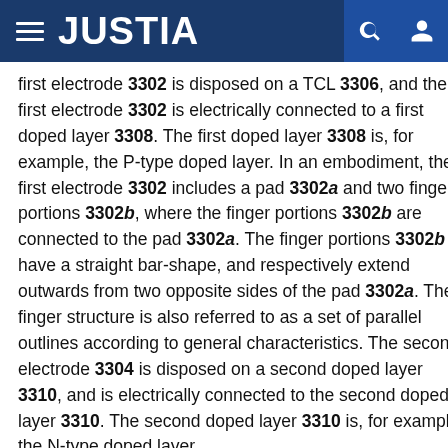JUSTIA
first electrode 3302 is disposed on a TCL 3306, and the first electrode 3302 is electrically connected to a first doped layer 3308. The first doped layer 3308 is, for example, the P-type doped layer. In an embodiment, the first electrode 3302 includes a pad 3302a and two finger portions 3302b, where the finger portions 3302b are connected to the pad 3302a. The finger portions 3302b have a straight bar-shape, and respectively extend outwards from two opposite sides of the pad 3302a. The finger structure is also referred to as a set of parallel outlines according to general characteristics. The second electrode 3304 is disposed on a second doped layer 3310, and is electrically connected to the second doped layer 3310. The second doped layer 3310 is, for example, the N-type doped layer.
In the light-emitting device, the first electrode 3302 and the second electrode 3304 are from two opposite sides of...